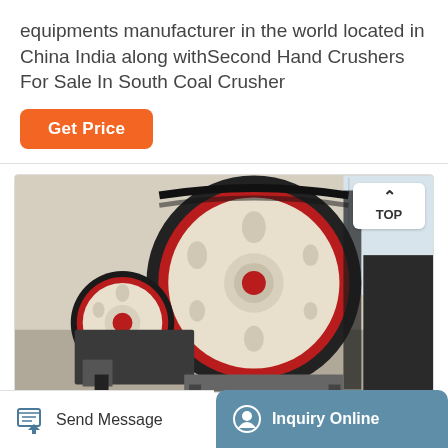equipments manufacturer in the world located in China India along withSecond Hand Crushers For Sale In South Coal Crusher
Get Price
[Figure (photo): Industrial jaw crusher machinery with large red and cream/beige colored flywheel pulleys visible, industrial equipment in a workshop setting.]
Send Message
Inquiry Online